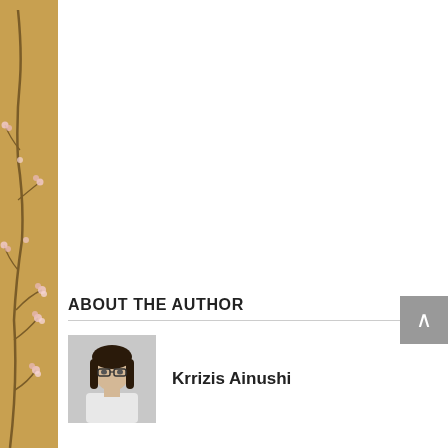[Figure (illustration): Decorative sidebar with golden/orange background featuring floral branch pattern with small pink/white blossoms]
ABOUT THE AUTHOR
[Figure (photo): Black and white portrait photo of a young woman with long dark hair and glasses, wearing a light colored top]
Krrizis Ainushi